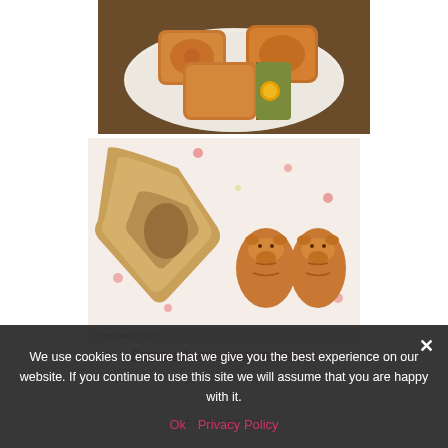[Figure (photo): Mooncakes on a white plate, one cut open showing lotus paste and egg yolk filling, surrounded by whole mooncakes with decorative patterns on top]
[Figure (photo): Wooden mooncake mold alongside two small baked mooncakes shaped like animals (piglets/rabbits) on a floral patterned cloth, with watermark messywitchen.com]
Single yolk lotus paste mooncake
We use cookies to ensure that we give you the best experience on our website. If you continue to use this site we will assume that you are happy with it.
Ok   Privacy Policy
CATEGORIES